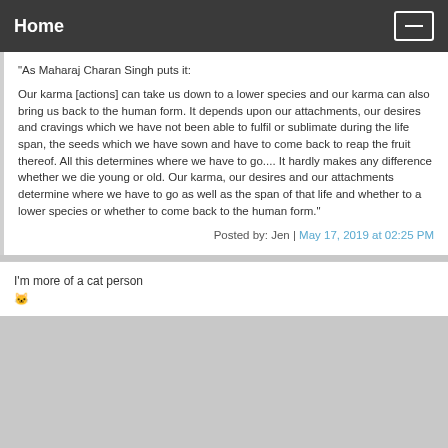Home
"As Maharaj Charan Singh puts it:

Our karma [actions] can take us down to a lower species and our karma can also bring us back to the human form. It depends upon our attachments, our desires and cravings which we have not been able to fulfil or sublimate during the life span, the seeds which we have sown and have to come back to reap the fruit thereof. All this determines where we have to go.... It hardly makes any difference whether we die young or old. Our karma, our desires and our attachments determine where we have to go as well as the span of that life and whether to a lower species or whether to come back to the human form."
Posted by: Jen | May 17, 2019 at 02:25 PM
I'm more of a cat person
🐱